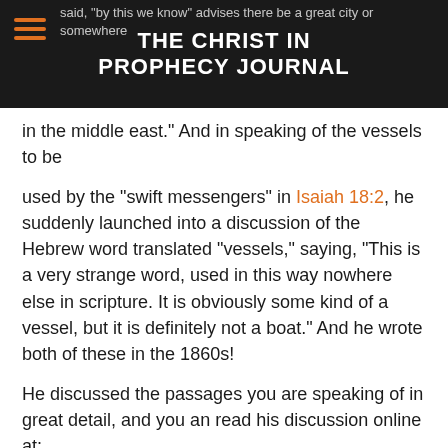THE CHRIST IN PROPHECY JOURNAL
said, "by this we know" advises there be a great city or somewhere in the middle east." And in speaking of the vessels to be used by the “swift messengers” in Isaiah 18:2, he suddenly launched into a discussion of the Hebrew word translated “vessels,” saying, “This is a very strange word, used in this way nowhere else in scripture. It is obviously some kind of a vessel, but it is definitely not a boat.” And he wrote both of these in the 1860s!
He discussed the passages you are speaking of in great detail, and you an read his discussion online at: http://www.stempublishing.com/authors/kelly/2Newtest/REV_PT4.html
Many of this man’s writings are available at:
http://www.stempublishing.com/authors/kelly/
And here are the writings of another investigator, the one...